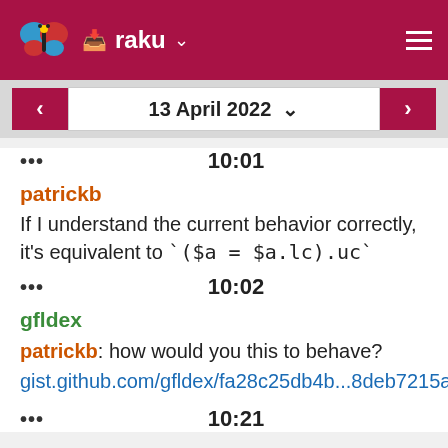raku
13 April 2022
... 10:01
patrickb
If I understand the current behavior correctly, it's equivalent to `($a = $a.lc).uc`
... 10:02
gfldex
patrickb: how would you this to behave?
gist.github.com/gfldex/fa28c25db4b...8deb7215ae
... 10:21